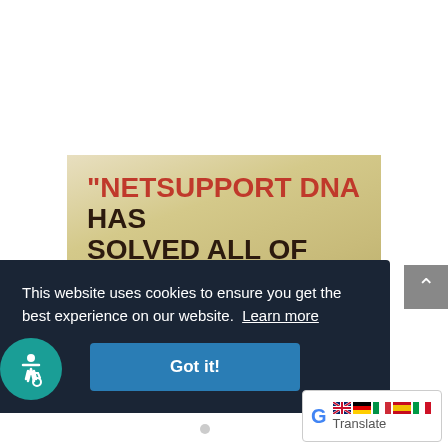[Figure (screenshot): Website screenshot showing a testimonial image with text 'NETSUPPORT DNA HAS SOLVED ALL OF OUR NEEDS AND HAS EVEN MORE' on aged paper background, overlaid with a cookie consent banner, accessibility button, scroll-to-top button, and Google Translate widget.]
"NETSUPPORT DNA HAS SOLVED ALL OF OUR NEEDS AND HAS EVEN MORE
This website uses cookies to ensure you get the best experience on our website.  Learn more
Got it!